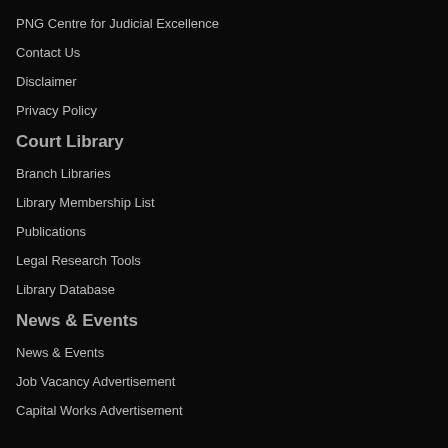PNG Centre for Judicial Excellence
Contact Us
Disclaimer
Privacy Policy
Court Library
Branch Libraries
Library Membership List
Publications
Legal Research Tools
Library Database
News & Events
News & Events
Job Vacancy Advertisement
Capital Works Advertisement